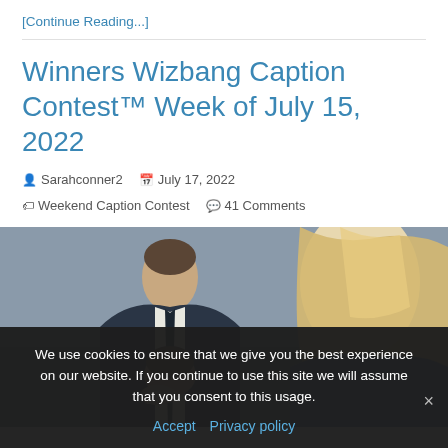[Continue Reading...]
Winners Wizbang Caption Contest™ Week of July 15, 2022
Sarahconner2   July 17, 2022   Weekend Caption Contest   41 Comments
[Figure (photo): Two people at an outdoor ceremony — a dark-haired man in a suit leaning forward and appearing to kiss the hand of a blonde woman.]
We use cookies to ensure that we give you the best experience on our website. If you continue to use this site we will assume that you consent to this usage.
Accept   Privacy policy